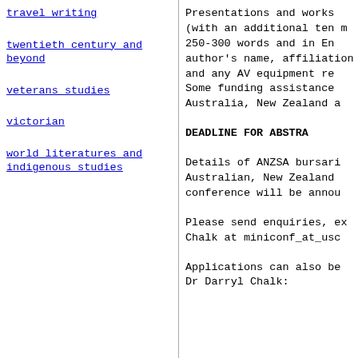travel writing
twentieth century and beyond
veterans studies
victorian
world literatures and indigenous studies
Presentations and works (with an additional ten m 250-300 words and in En author's name, affiliation and any AV equipment re Some funding assistance Australia, New Zealand a
DEADLINE FOR ABSTRA
Details of ANZSA bursari Australian, New Zealand conference will be annou
Please send enquiries, ex Chalk at miniconf_at_usc
Applications can also be Dr Darryl Chalk: